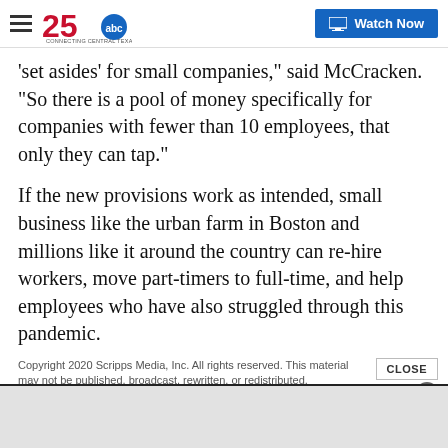KXXV 25 ABC – Connecting Central Texas | Watch Now
'set asides' for small companies," said McCracken. "So there is a pool of money specifically for companies with fewer than 10 employees, that only they can tap."
If the new provisions work as intended, small business like the urban farm in Boston and millions like it around the country can re-hire workers, move part-timers to full-time, and help employees who have also struggled through this pandemic.
Copyright 2020 Scripps Media, Inc. All rights reserved. This material may not be published, broadcast, rewritten, or redistributed.